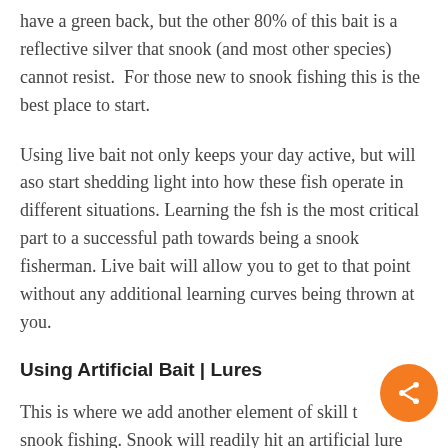have a green back, but the other 80% of this bait is a reflective silver that snook (and most other species) cannot resist.  For those new to snook fishing this is the best place to start.
Using live bait not only keeps your day active, but will aso start shedding light into how these fish operate in different situations. Learning the fsh is the most critical part to a successful path towards being a snook fisherman. Live bait will allow you to get to that point without any additional learning curves being thrown at you.
Using Artificial Bait | Lures
This is where we add another element of skill to snook fishing. Snook will readily hit an artificial lure once you learn where to place it, how to